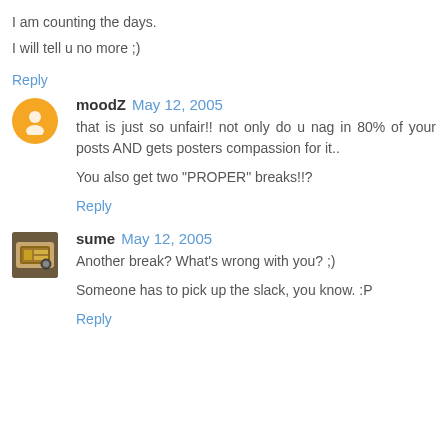I am counting the days.
I will tell u no more ;)
Reply
moodZ May 12, 2005
that is just so unfair!! not only do u nag in 80% of your posts AND gets posters compassion for it..
You also get two "PROPER" breaks!!?
Reply
sume May 12, 2005
Another break? What's wrong with you? ;)
Someone has to pick up the slack, you know. :P
Reply